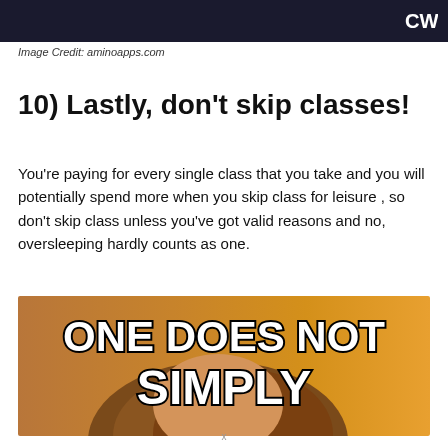[Figure (photo): Top portion of an image showing a dark background with a CW network logo visible in the upper right]
Image Credit: aminoapps.com
10) Lastly, don't skip classes!
You're paying for every single class that you take and you will potentially spend more when you skip class for leisure , so don't skip class unless you've got valid reasons and no, oversleeping hardly counts as one.
[Figure (photo): Meme image showing a person with text 'ONE DOES NOT SIMPLY' in bold white outlined letters on an orange/brown background]
x